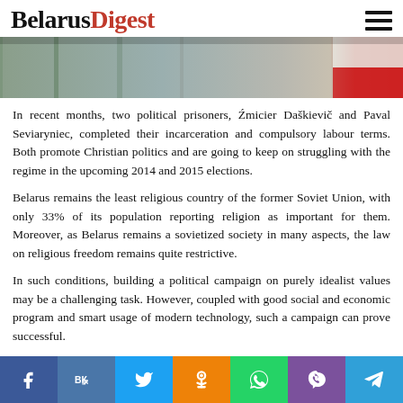BelarusDigest
[Figure (photo): Outdoor scene with trees and a red and white flag or banner visible on the right side]
In recent months, two political prisoners, Źmicier Daškievič and Paval Seviaryniec, completed their incarceration and compulsory labour terms. Both promote Christian politics and are going to keep on struggling with the regime in the upcoming 2014 and 2015 elections.
Belarus remains the least religious country of the former Soviet Union, with only 33% of its population reporting religion as important for them. Moreover, as Belarus remains a sovietized society in many aspects, the law on religious freedom remains quite restrictive.
In such conditions, building a political campaign on purely idealist values may be a challenging task. However, coupled with good social and economic program and smart usage of modern technology, such a campaign can prove successful.
Paval Seviaryniec: Time for a Moral Revolution
[Figure (infographic): Social media sharing buttons: Facebook, VK, Twitter, Odnoklassniki, WhatsApp, Viber, Telegram]